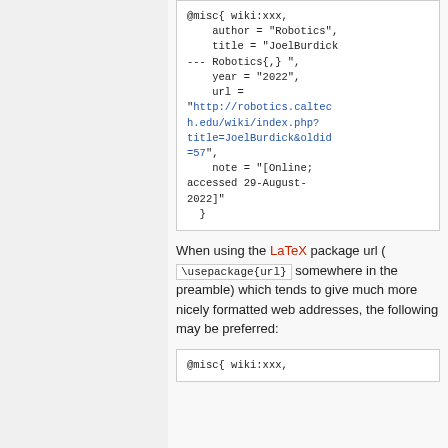@misc{ wiki:xxx,
    author = "Robotics",
    title = "JoelBurdick
--- Robotics{,} ",
    year = "2022",
    url =
"http://robotics.caltech.edu/wiki/index.php?title=JoelBurdick&oldid=57",
    note = "[Online; accessed 29-August-2022]"
  }
When using the LaTeX package url ( \usepackage{url} somewhere in the preamble) which tends to give much more nicely formatted web addresses, the following may be preferred:
@misc{ wiki:xxx,